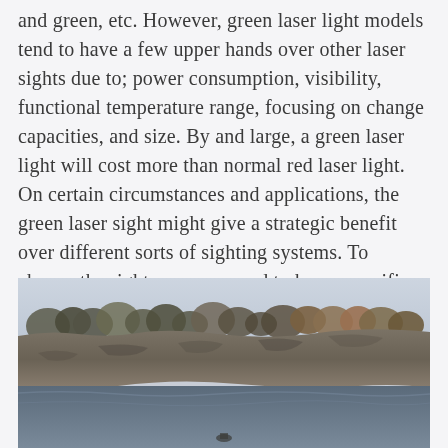and green, etc. However, green laser light models tend to have a few upper hands over other laser sights due to; power consumption, visibility, functional temperature range, focusing on change capacities, and size. By and large, a green laser light will cost more than normal red laser light. On certain circumstances and applications, the green laser sight might give a strategic benefit over different sorts of sighting systems. To choose the right one, you need to know specific things which we will put you through. All you need to do is to read to the end so you don't miss a tiny detail.
[Figure (photo): Outdoor landscape photograph showing a rocky cliff or riverbank with a treeline of bare and partially leafed trees against a pale grey sky. The foreground shows a rocky/sandy ground or river area.]